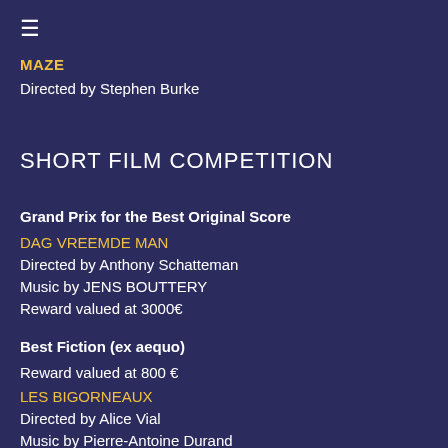≡
MAZE
Directed by Stephen Burke
SHORT FILM COMPETITION
Grand Prix for the Best Original Score
DAG VREEMDE MAN
Directed by Anthony Schatteman
Music by JENS BOUTTERY
Reward valued at 3000€
Best Fiction (ex aequo)
Reward valued at 800 €
LES BIGORNEAUX
Directed by Alice Vial
Music by Pierre-Antoine Durand